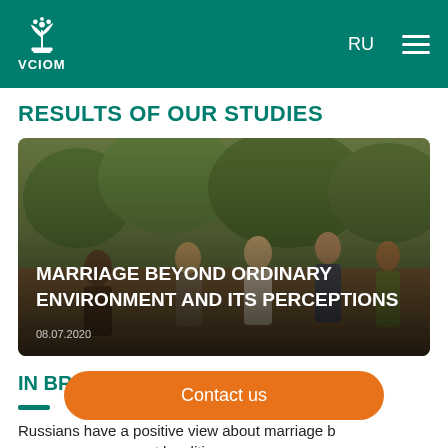VCIOM — RU (navigation header)
RESULTS OF OUR STUDIES
[Figure (photo): Group of people outdoors in warm light, overlaid with bold white text: MARRIAGE BEYOND ORDINARY ENVIRONMENT AND ITS PERCEPTIONS, dated 08.07.2020]
IN BRIEF
Russians have a positive view about marriage beyond ordinary environment and its perceptions in different localities
Contact us